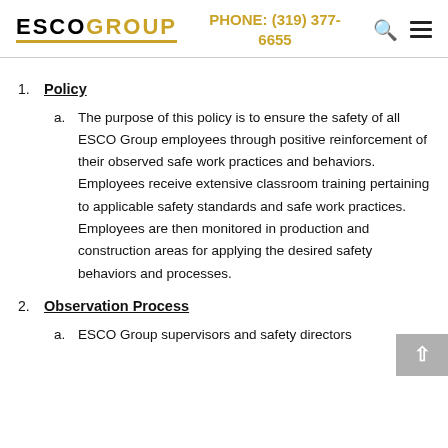ESCO GROUP | PHONE: (319) 377-6655
1. Policy
a. The purpose of this policy is to ensure the safety of all ESCO Group employees through positive reinforcement of their observed safe work practices and behaviors. Employees receive extensive classroom training pertaining to applicable safety standards and safe work practices. Employees are then monitored in production and construction areas for applying the desired safety behaviors and processes.
2. Observation Process
a. ESCO Group supervisors and safety directors